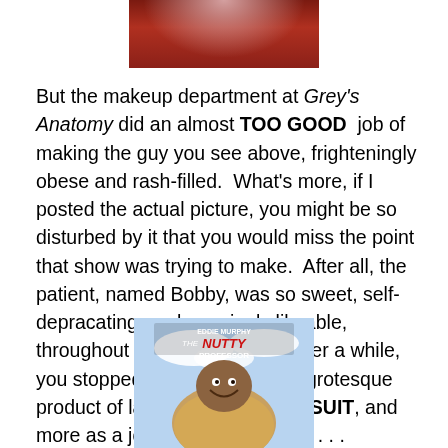[Figure (photo): Partial photo of a person at the top of the page, showing reddish/flannel clothing]
But the makeup department at Grey's Anatomy did an almost TOO GOOD  job of making the guy you see above, frighteningly obese and rash-filled.  What's more, if I posted the actual picture, you might be so disturbed by it that you would miss the point that show was trying to make.  After all, the patient, named Bobby, was so sweet, self-depracating, and genuinely likeable, throughout the episode, that, after a while, you stopped seeing him as the grotesque product of latex and a BIG FAT SUIT, and more as a jolly chubster like this . . .
[Figure (photo): Movie poster for The Nutty Professor featuring Eddie Murphy]